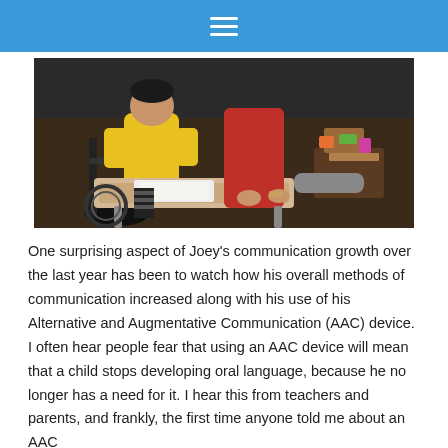≡
[Figure (photo): A child in a yellow long-sleeve shirt seated in a wheelchair at a table, with an adult in a red top assisting, working on materials on a tray table.]
One surprising aspect of Joey's communication growth over the last year has been to watch how his overall methods of communication increased along with his use of his Alternative and Augmentative Communication (AAC) device. I often hear people fear that using an AAC device will mean that a child stops developing oral language, because he no longer has a need for it. I hear this from teachers and parents, and frankly, the first time anyone told me about an AAC